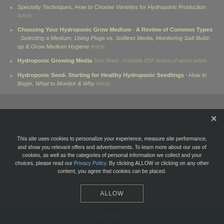Specialty Techniques, How to Choose Varieties for Hydroponic Production Article
Choosing Your Hydroponic Grow Medium · A Review of Common Types · Selecting a Medium, Using Plugs vs. Soilless Media, Monitoring Salt Build-up & Grow Medium Hygiene Article
Hydroponic Growing Media Tech Sheet · Printable PDF section of above article
Hydroponic Seed- Starting for Healthy Hydroponic Seedlings · How to Begin, What to Monitor & Why Article
This site uses cookies to personalize your experience, measure site performance, and show you relevant offers and advertisements. To learn more about our use of cookies, as well as the categories of personal information we collect and your choices, please read our Privacy Policy. By clicking ALLOW or clicking on any other content, you agree that cookies can be placed.
ALLOW
Chat With Us